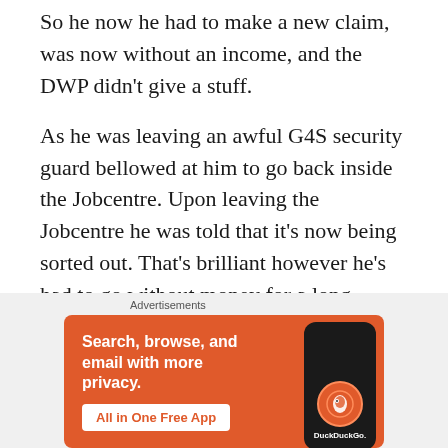So he now he had to make a new claim, was now without an income, and the DWP didn't give a stuff.
As he was leaving an awful G4S security guard bellowed at him to go back inside the Jobcentre. Upon leaving the Jobcentre he was told that it's now being sorted out. That's brilliant however he's had to go without money for a long while.
[Figure (other): DuckDuckGo advertisement banner with orange background. Text reads: 'Search, browse, and email with more privacy. All in One Free App' with DuckDuckGo logo and phone graphic.]